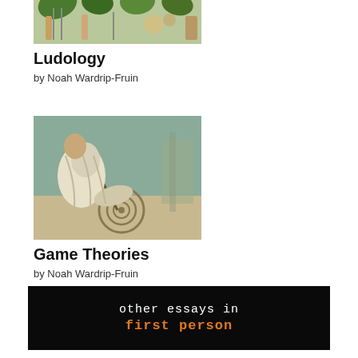[Figure (illustration): Book cover thumbnail for Ludology - colorful illustration with figures and foliage]
Ludology
by Noah Wardrip-Fruin
[Figure (illustration): Book cover thumbnail for Game Theories - classical painting of a figure drawing a spiral]
Game Theories
by Noah Wardrip-Fruin
[Figure (other): Black banner reading 'other essays in first person' with 'first person' in orange]
[Figure (illustration): Book cover thumbnail - circuit board with green chip illustration]